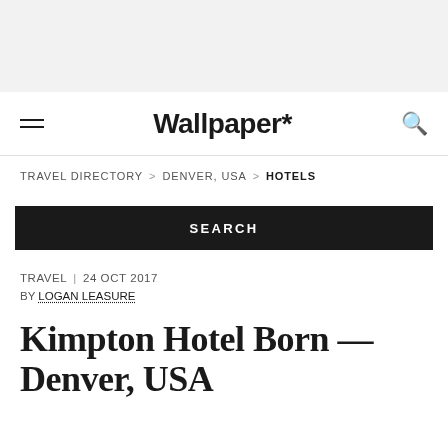Wallpaper*
TRAVEL DIRECTORY > DENVER, USA > HOTELS
SEARCH
TRAVEL | 24 OCT 2017
BY LOGAN LEASURE
Kimpton Hotel Born — Denver, USA